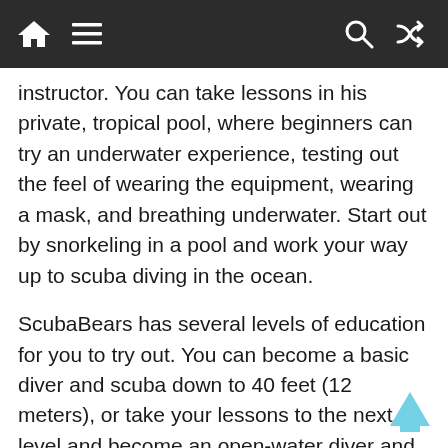Navigation bar with home, menu, search, and shuffle icons
instructor. You can take lessons in his private, tropical pool, where beginners can try an underwater experience, testing out the feel of wearing the equipment, wearing a mask, and breathing underwater. Start out by snorkeling in a pool and work your way up to scuba diving in the ocean.
ScubaBears has several levels of education for you to try out. You can become a basic diver and scuba down to 40 feet (12 meters), or take your lessons to the next level and become an open-water diver and go deep! You can become a rescue diver, helping people in need during emergencies, or get your master diver certification. Mike can also teach you to become a dive master, which you can then get certified and teach others how to